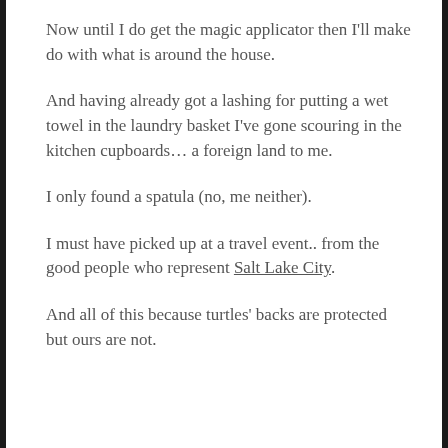Now until I do get the magic applicator then I'll make do with what is around the house.
And having already got a lashing for putting a wet towel in the laundry basket I've gone scouring in the kitchen cupboards… a foreign land to me.
I only found a spatula (no, me neither).
I must have picked up at a travel event.. from the good people who represent Salt Lake City.
And all of this because turtles' backs are protected but ours are not.